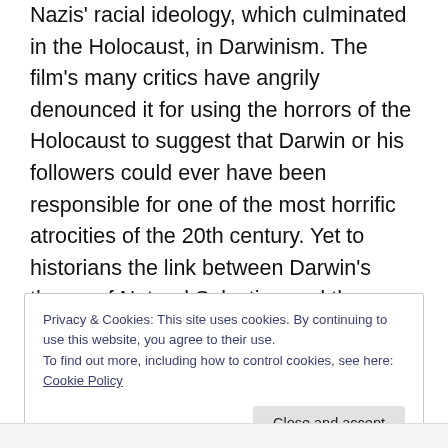Nazis' racial ideology, which culminated in the Holocaust, in Darwinism. The film's many critics have angrily denounced it for using the horrors of the Holocaust to suggest that Darwin or his followers could ever have been responsible for one of the most horrific atrocities of the 20th century. Yet to historians the link between Darwin's theory of Natural Selection and the genocidal racism of the Nazis is entirely uncontroversial. Regardless of their religious views, historians of the 19th and 20th century, and particularly those of Fascism and Nazi Germany, have accepted that Darwin's theory of Natural Selection was
Privacy & Cookies: This site uses cookies. By continuing to use this website, you agree to their use.
To find out more, including how to control cookies, see here: Cookie Policy